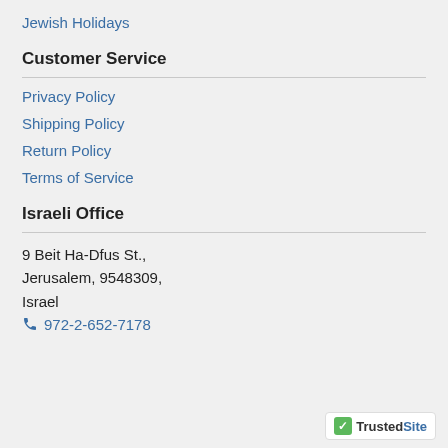Jewish Holidays
Customer Service
Privacy Policy
Shipping Policy
Return Policy
Terms of Service
Israeli Office
9 Beit Ha-Dfus St.,
Jerusalem, 9548309,
Israel
☎ 972-2-652-7178
[Figure (logo): TrustedSite badge with green checkmark]